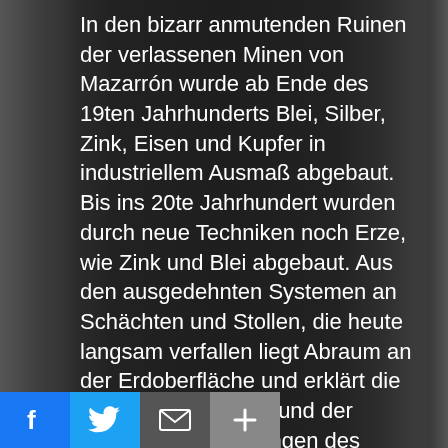In den bizarr anmutenden Ruinen der verlassenen Minen von Mazarrón wurde ab Ende des 19ten Jahrhunderts Blei, Silber, Zink, Eisen und Kupfer in industriellem Ausmaß abgebaut. Bis ins 20te Jahrhundert wurden durch neue Techniken noch Erze, wie Zink und Blei abgebaut. Aus den ausgedehnten Systemen an Schächten und Stollen, die heute langsam verfallen liegt Abraum an der Erdoberfläche und erklärt die Farben des Bodens und der Umgebung. Die Mengen des Aushubs an der Oberfläche bedrohen heute konkret die Umwelt in der Umgebung und das Grundwasser. Die Minen in der Region Murcia in Spanien liegen ca. 25 k[...] o[...a...]ena entfernt. 2005 wurden die
[Figure (infographic): Social sharing bar at bottom with Facebook (blue), Twitter (light blue), Mail (grey), and Plus/Add (light grey) buttons]